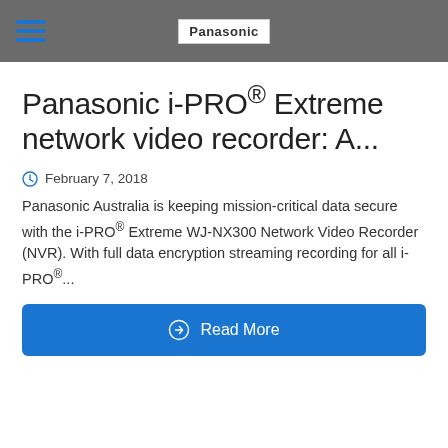Panasonic
Panasonic i-PRO® Extreme network video recorder: A...
February 7, 2018
Panasonic Australia is keeping mission-critical data secure with the i-PRO® Extreme WJ-NX300 Network Video Recorder (NVR). With full data encryption streaming recording for all i-PRO®...
Read More